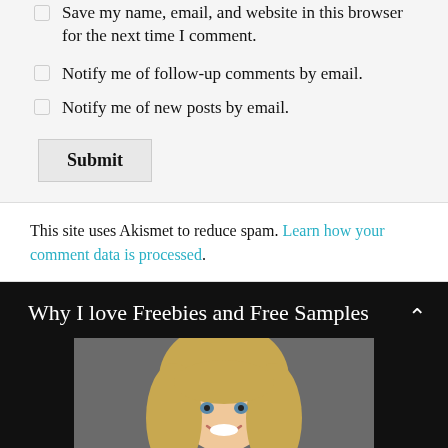Save my name, email, and website in this browser for the next time I comment.
Notify me of follow-up comments by email.
Notify me of new posts by email.
Submit
This site uses Akismet to reduce spam. Learn how your comment data is processed.
Why I love Freebies and Free Samples
[Figure (photo): Blonde woman smiling and holding a sign that reads 'Freebie']